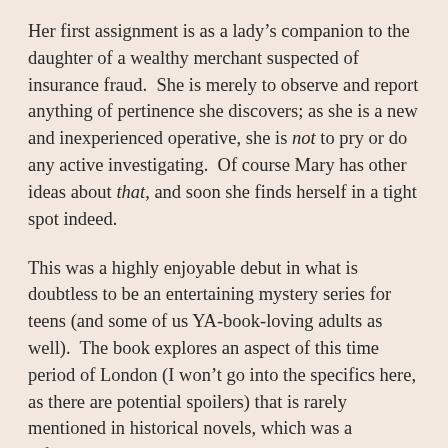Her first assignment is as a lady's companion to the daughter of a wealthy merchant suspected of insurance fraud.  She is merely to observe and report anything of pertinence she discovers; as she is a new and inexperienced operative, she is not to pry or do any active investigating.  Of course Mary has other ideas about that, and soon she finds herself in a tight spot indeed.
This was a highly enjoyable debut in what is doubtless to be an entertaining mystery series for teens (and some of us YA-book-loving adults as well).  The book explores an aspect of this time period of London (I won't go into the specifics here, as there are potential spoilers) that is rarely mentioned in historical novels, which was a refreshing - and educational - change.  I was a little disappointed that the school Mary attends is more of a finishing school, rather than a dedicated institution (like the Gallagher Academy) whose main goal is to teach girls the necessary skills to become expert operatives).  It seems as though Mary's training is going to be on the job, and I found it rather unbelievable that with so little actual training the agency heads would allow Mary to be placed into a position where she was so isolated and